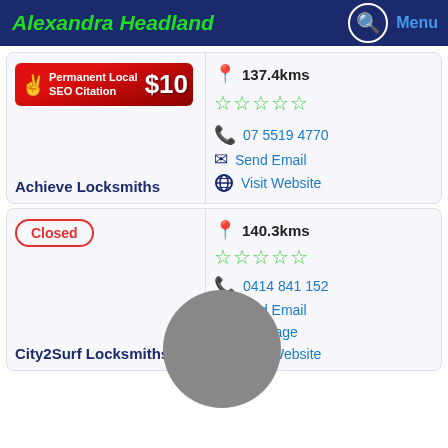Alexandra Headland
[Figure (screenshot): Red SEO banner: Permanent Local SEO Citation $10]
137.4kms
☆☆☆☆☆ (5 empty stars)
07 5519 4770
Send Email
Visit Website
Achieve Locksmiths
Closed
140.3kms
☆☆☆☆☆ (5 empty stars)
0414 841 152
Send Email
Message
Visit Website
City2Surf Locksmiths